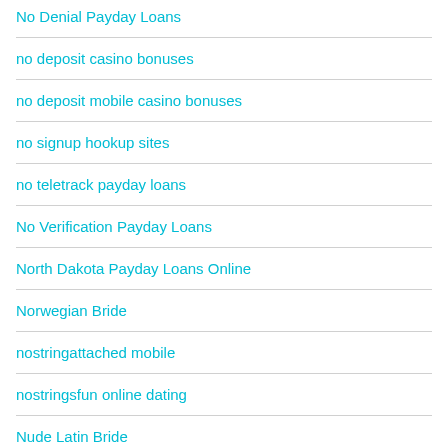No Denial Payday Loans
no deposit casino bonuses
no deposit mobile casino bonuses
no signup hookup sites
no teletrack payday loans
No Verification Payday Loans
North Dakota Payday Loans Online
Norwegian Bride
nostringattached mobile
nostringsfun online dating
Nude Latin Bride
nude russian brides
Nude Ukrainian Brides